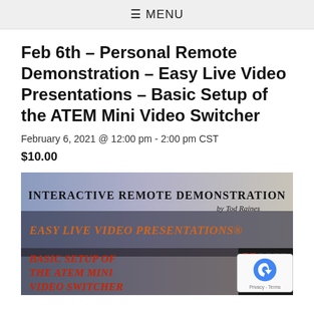≡ MENU
Feb 6th – Personal Remote Demonstration – Easy Live Video Presentations – Basic Setup of the ATEM Mini Video Switcher
February 6, 2021 @ 12:00 pm - 2:00 pm CST
$10.00
[Figure (photo): Promotional banner for Interactive Remote Demonstration by Tod Raines. Shows 'Easy Live Video Presentations®' and 'Basic Setup of the ATEM Mini Video Switcher' text overlaid on a background image, with a photo of an ATEM Mini video switcher device on the right side.]